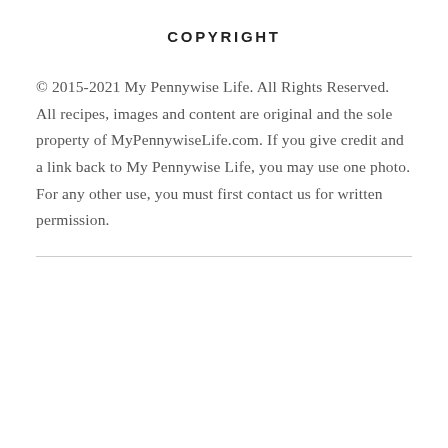COPYRIGHT
© 2015-2021 My Pennywise Life. All Rights Reserved. All recipes, images and content are original and the sole property of MyPennywiseLife.com. If you give credit and a link back to My Pennywise Life, you may use one photo. For any other use, you must first contact us for written permission.